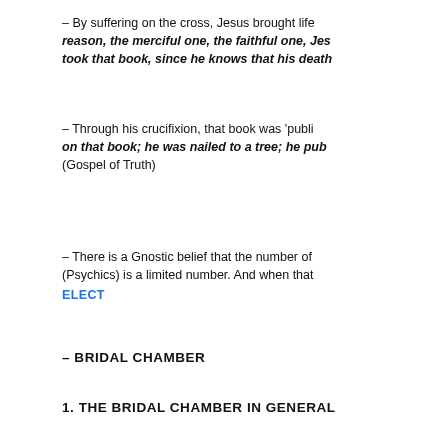- By suffering on the cross, Jesus brought life reason, the merciful one, the faithful one, Jes took that book, since he knows that his death
- Through his crucifixion, that book was 'publi on that book; he was nailed to a tree; he pub (Gospel of Truth)
- There is a Gnostic belief that the number of (Psychics) is a limited number. And when that ELECT
- BRIDAL CHAMBER
1. THE BRIDAL CHAMBER IN GENERAL